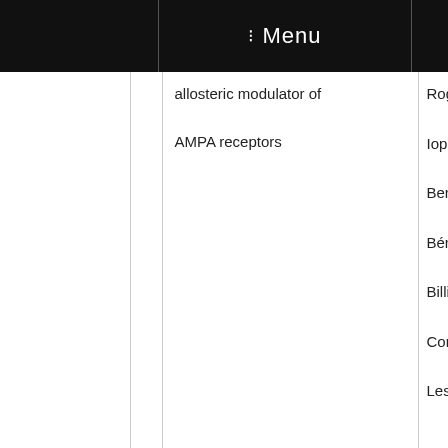Menu
|  |  | Title | Authors / Year / Journal |
| --- | --- | --- | --- |
|  |  | allosteric modulator of AMPA receptors | Rogez N, Albinet K, Iop F, Villain N, Bertrand S, Krazer, Bérachochéa D, Billiald S, Tordjman, Cordi A, Bertrand, Lestage P, Danob |
|  |  |  | 2017 |
|  |  |  | PLoS One |